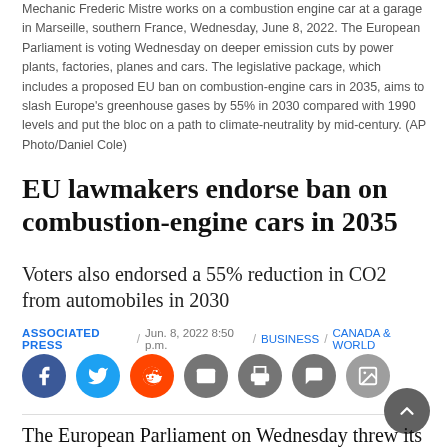Mechanic Frederic Mistre works on a combustion engine car at a garage in Marseille, southern France, Wednesday, June 8, 2022. The European Parliament is voting Wednesday on deeper emission cuts by power plants, factories, planes and cars. The legislative package, which includes a proposed EU ban on combustion-engine cars in 2035, aims to slash Europe's greenhouse gases by 55% in 2030 compared with 1990 levels and put the bloc on a path to climate-neutrality by mid-century. (AP Photo/Daniel Cole)
EU lawmakers endorse ban on combustion-engine cars in 2035
Voters also endorsed a 55% reduction in CO2 from automobiles in 2030
ASSOCIATED PRESS / Jun. 8, 2022 8:50 p.m. / BUSINESS / CANADA & WORLD
[Figure (infographic): Social sharing buttons: Facebook (blue), Twitter (light blue), Reddit (orange), Email (grey), Print (grey), Comment (grey), Image (grey)]
The European Parliament on Wednesday threw its weight behind a proposed ban on selling new cars with combustion